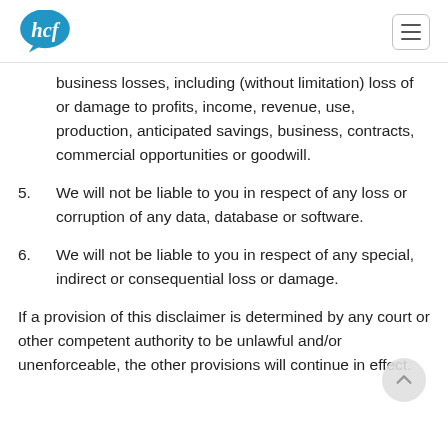hcf logo and navigation menu
business losses, including (without limitation) loss of or damage to profits, income, revenue, use, production, anticipated savings, business, contracts, commercial opportunities or goodwill.
5. We will not be liable to you in respect of any loss or corruption of any data, database or software.
6. We will not be liable to you in respect of any special, indirect or consequential loss or damage.
If a provision of this disclaimer is determined by any court or other competent authority to be unlawful and/or unenforceable, the other provisions will continue in effect.